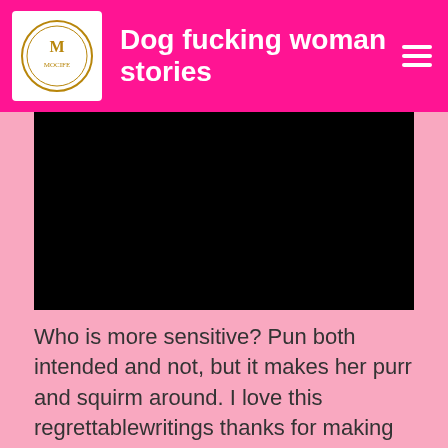Dog fucking woman stories
[Figure (other): Black redacted/blocked image area at top]
Who is more sensitive? Pun both intended and not, but it makes her purr and squirm around. I love this regrettablewritings thanks for making my day better.
[Figure (other): Black redacted/blocked image area at bottom]